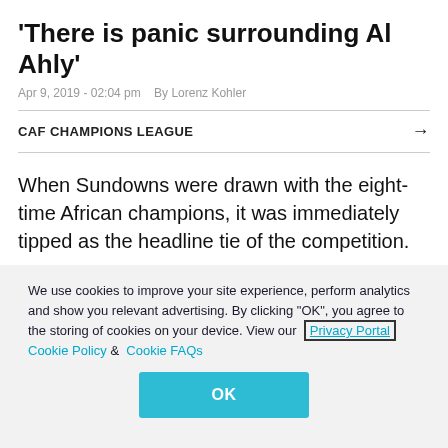'There is panic surrounding Al Ahly'
Apr 9, 2019 - 02:04 pm   By Lorenz Kohler
CAF CHAMPIONS LEAGUE →
When Sundowns were drawn with the eight-time African champions, it was immediately tipped as the headline tie of the competition.
We use cookies to improve your site experience, perform analytics and show you relevant advertising. By clicking "OK", you agree to the storing of cookies on your device. View our Privacy Portal  Cookie Policy &  Cookie FAQs
OK